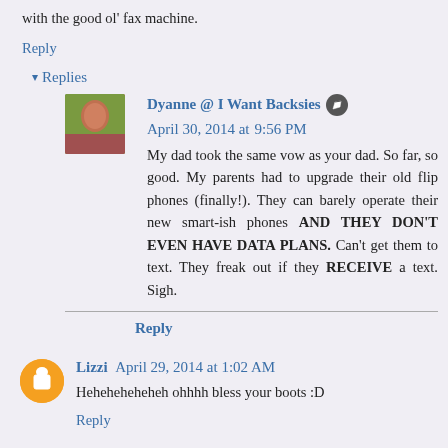with the good ol' fax machine.
Reply
▾ Replies
Dyanne @ I Want Backsies ✏ April 30, 2014 at 9:56 PM
My dad took the same vow as your dad. So far, so good. My parents had to upgrade their old flip phones (finally!). They can barely operate their new smart-ish phones AND THEY DON'T EVEN HAVE DATA PLANS. Can't get them to text. They freak out if they RECEIVE a text. Sigh.
Reply
Lizzi  April 29, 2014 at 1:02 AM
Heheheheheheh ohhhh bless your boots :D
Reply